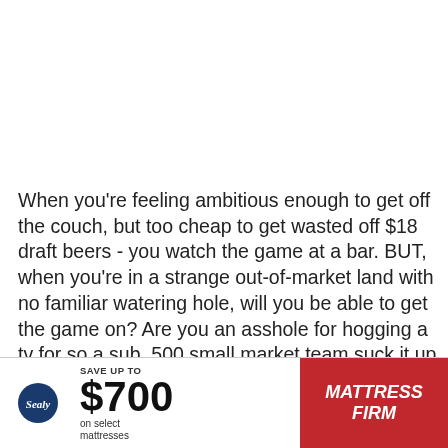When you're feeling ambitious enough to get off the couch, but too cheap to get wasted off $18 draft beers - you watch the game at a bar. BUT, when you're in a strange out-of-market land with no familiar watering hole, will you be able to get the game on? Are you an asshole for hogging a tv for so a sub .500 small market team suck it up in primetime? Will they write a scathing one-star food for asking...
[Figure (other): Advertisement banner: Sealy brand logo on left, 'SAVE UP TO $700 on select mattresses' text in center, Mattress Firm logo on red background on right]